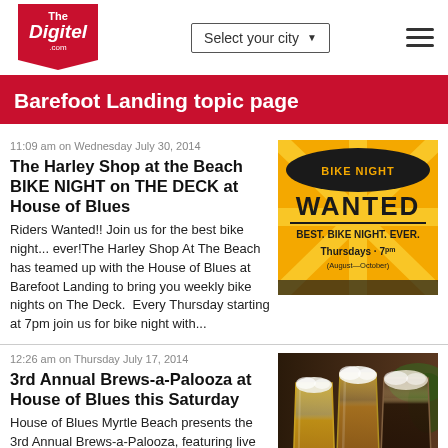The Digitel - Select your city
Barefoot Landing topic page
11:09 am on Wednesday July 30, 2014
The Harley Shop at the Beach BIKE NIGHT on THE DECK at House of Blues
Riders Wanted!! Join us for the best bike night... ever!The Harley Shop At The Beach has teamed up with the House of Blues at Barefoot Landing to bring you weekly bike nights on The Deck.  Every Thursday starting at 7pm join us for bike night with...
[Figure (photo): Promotional poster: BIKE NIGHT WANTED - BEST. BIKE NIGHT. EVER. Thursdays 7pm (August-October)]
12:26 am on Thursday July 17, 2014
3rd Annual Brews-a-Palooza at House of Blues this Saturday
House of Blues Myrtle Beach presents the 3rd Annual Brews-a-Palooza, featuring live music and more than 30 craft beers
[Figure (photo): Photo of multiple beer glasses filled with various craft beers]